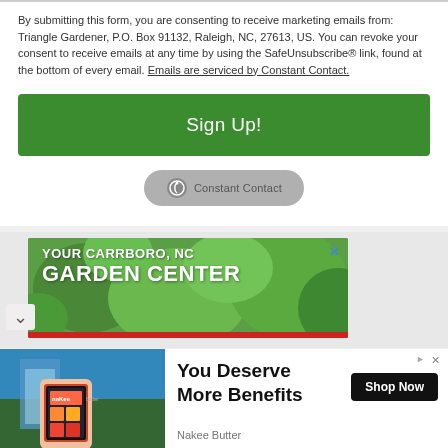By submitting this form, you are consenting to receive marketing emails from: Triangle Gardener, P.O. Box 91132, Raleigh, NC, 27613, US. You can revoke your consent to receive emails at any time by using the SafeUnsubscribe® link, found at the bottom of every email. Emails are serviced by Constant Contact.
[Figure (other): Green Sign Up! button]
[Figure (logo): Constant Contact badge/logo in gray pill shape]
[Figure (other): Advertisement banner: YOUR CARRBORO, NC GARDEN CENTER with green garden background]
[Figure (other): Advertisement: You Deserve More Benefits - Nakee Butter with Shop Now button, showing phone with app in nature background]